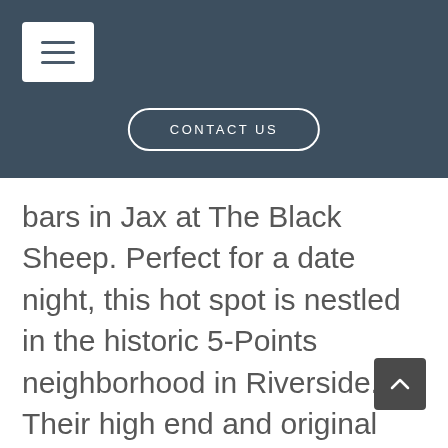[Figure (screenshot): Navigation header with hamburger menu button and CONTACT US button on dark blue-grey background]
bars in Jax at The Black Sheep. Perfect for a date night, this hot spot is nestled in the historic 5-Points neighborhood in Riverside. Their high end and original cocktails pair well with their tasty bar food. Try the The 901 with the